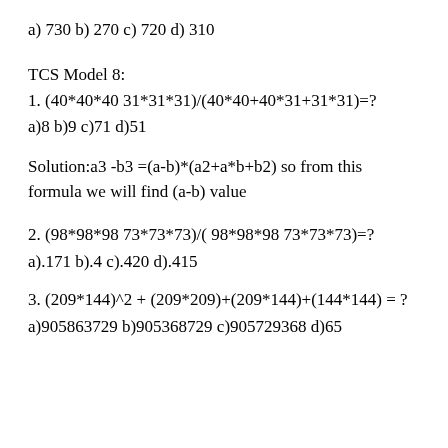a) 730 b) 270 c) 720 d) 310
TCS Model 8:
1. (40*40*40 31*31*31)/(40*40+40*31+31*31)=?
a)8 b)9 c)71 d)51
Solution:a3 -b3 =(a-b)*(a2+a*b+b2) so from this formula we will find (a-b) value
2. (98*98*98 73*73*73)/( 98*98*98 73*73*73)=?
a).171 b).4 c).420 d).415
3. (209*144)^2 + (209*209)+(209*144)+(144*144) = ?
a)905863729 b)905368729 c)905729368 d)65